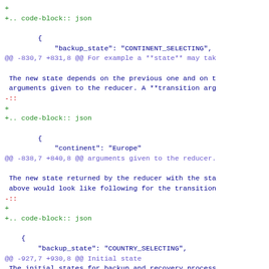+ (green)
+.. code-block:: json (green)

    { (blue)
        "backup_state": "CONTINENT_SELECTING", (blue)
@@ -830,7 +831,8 @@ For example a **state** may tak (hunk)

 The new state depends on the previous one and on t (blue)
 arguments given to the reducer. A **transition arg (blue)
-:: (red)
+ (green)
+.. code-block:: json (green)

    { (blue)
        "continent": "Europe" (blue)
@@ -838,7 +840,8 @@ arguments given to the reducer. (hunk)

 The new state returned by the reducer with the sta (blue)
 above would look like following for the transition (blue)
-:: (red)
+ (green)
+.. code-block:: json (green)

    { (blue)
        "backup_state": "COUNTRY_SELECTING", (blue)
@@ -927,7 +930,8 @@ Initial state (hunk)
 The initial states for backup and recovery process (blue)

 **Initial backup state:** (blue)
-:: (red)